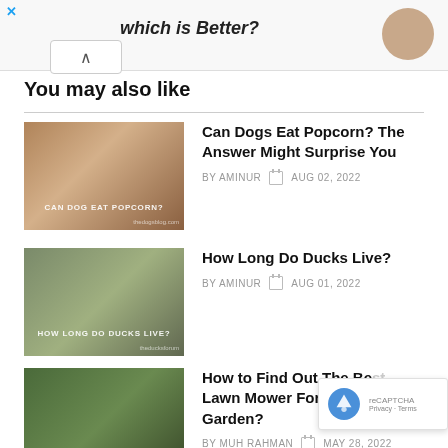which is Better?
You may also like
Can Dogs Eat Popcorn? The Answer Might Surprise You
BY AMINUR  AUG 02, 2022
How Long Do Ducks Live?
BY AMINUR  AUG 01, 2022
How to Find Out The Best Lawn Mower For Your Garden?
BY MUH RAHMAN  MAY 28, 2022